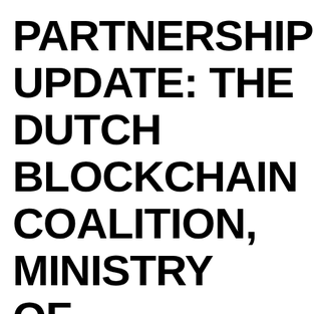PARTNERSHIP UPDATE: THE DUTCH BLOCKCHAIN COALITION, MINISTRY OF INFRASTRUCTURE & WATER MANAGEMENT & BLOYMOVE